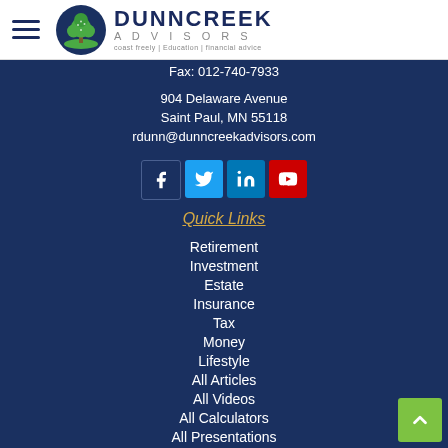[Figure (logo): Dunncreek Advisors logo with tree icon and tagline: coast freely | Education | financial advice]
Fax: 012-740-7933
904 Delaware Avenue
Saint Paul, MN 55118
rdunn@dunncreekadvisors.com
[Figure (infographic): Social media icons: Facebook, Twitter, LinkedIn, YouTube]
Quick Links
Retirement
Investment
Estate
Insurance
Tax
Money
Lifestyle
All Articles
All Videos
All Calculators
All Presentations